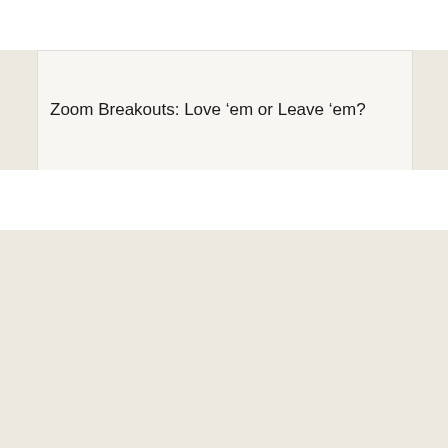Zoom Breakouts: Love 'em or Leave 'em?